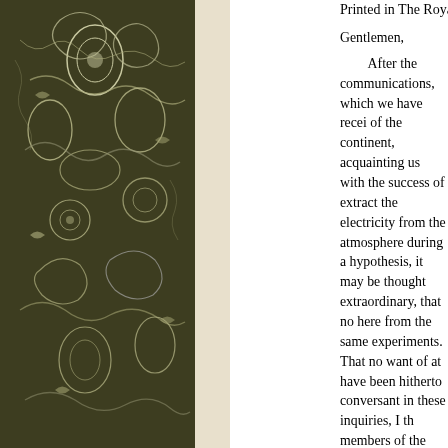[Figure (illustration): Decorative dark olive/brown floral and paisley pattern border on the left side of the page, with intricate white botanical motifs on a dark background.]
Printed in The Royal Society, Phil...
Gentlemen,
After the communications, which we have received from the philosophers of the continent, acquainting us with the success of their experiments to extract the electricity from the atmosphere during a thunder-storm, in support of a hypothesis, it may be thought extraordinary, that no attempts have been made here from the same experiments. That no want of attention in those who have been hitherto conversant in these inquiries, I think I can prove, as many members of the Royal Society, as well as myself, did the last summer provide the necessary apparatus for this purpose, we were deterred from using it by the coolness and dampness of the air here, during the whole of the season of thunderstorm; viz. on July 20; and then the thunder was so far off, that the apparatus, the electricity was dissipated too soon to be retained in the apparatus, which served to conduct it. This, I say, is not favourable to the hypothesis: but our worthy brother Mr. Canton 8 was more successful, and laid before you an extract of a letter, which I received from him, dated July 21, 1752.
“I had yesterday, about five in the afternoon, an opportunity of extracting the electrical fire from the clouds; and successful by an iron rod, nine feet in length, fixed to the top of a glass one, of about three feet in length, which was not so high as a stack of chimnies on the opposite side of the way; and to the lower end was solder’d a tin cover to kee